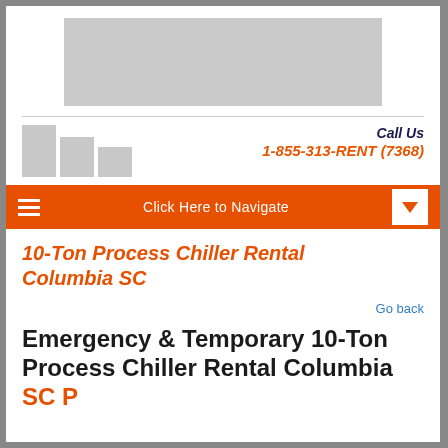[Figure (other): Advertisement banner placeholder (gray rectangle)]
[Figure (logo): Company logo made of three gray bars of decreasing height]
Call Us
1-855-313-RENT (7368)
Click Here to Navigate
10-Ton Process Chiller Rental Columbia SC
Go back
Emergency & Temporary 10-Ton Process Chiller Rental Columbia